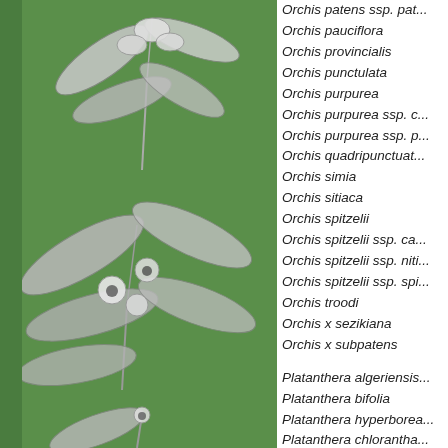[Figure (illustration): Botanical illustration of orchid plant with flowers on green background, upper portion]
[Figure (illustration): Botanical illustration of orchid plant with flowers on green background, middle portion]
[Figure (illustration): Botanical illustration of orchid plant on green background, lower portion]
Orchis patens ssp. pat...
Orchis pauciflora
Orchis provincialis
Orchis punctulata
Orchis purpurea
Orchis purpurea ssp. c...
Orchis purpurea ssp. p...
Orchis quadripunctuat...
Orchis simia
Orchis sitiaca
Orchis spitzelii
Orchis spitzelii ssp. ca...
Orchis spitzelii ssp. niti...
Orchis spitzelii ssp. spi...
Orchis troodi
Orchis x sezikiana
Orchis x subpatens
Platanthera algeriensis...
Platanthera bifolia
Platanthera hyperborea...
Platanthera chlorantha...
Platanthera obtusata
Platanthera obtusata s...
Pseudorchis albida
Pseudorchis albida ssp...
Pseudorchis albida ssp...
Pseudorchis albida ssp...
Serapias bergonii
Serapias cordigera